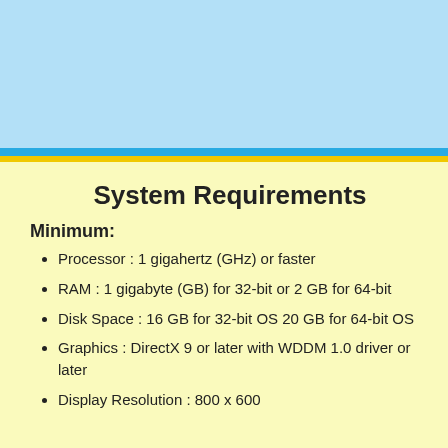System Requirements
Minimum:
Processor : 1 gigahertz (GHz) or faster
RAM : 1 gigabyte (GB) for 32-bit or 2 GB for 64-bit
Disk Space : 16 GB for 32-bit OS 20 GB for 64-bit OS
Graphics : DirectX 9 or later with WDDM 1.0 driver or later
Display Resolution : 800 x 600